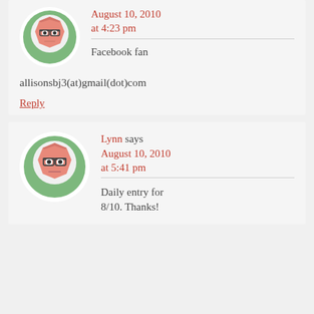[Figure (illustration): Avatar icon of a cartoon face with glasses, salmon/pink face, green circular background, white outer ring]
August 10, 2010
at 4:23 pm

Facebook fan
allisonsbj3(at)gmail(dot)com
Reply
[Figure (illustration): Avatar icon of a cartoon face with glasses, salmon/pink face, green circular background, white outer ring]
Lynn says
August 10, 2010
at 5:41 pm

Daily entry for 8/10. Thanks!